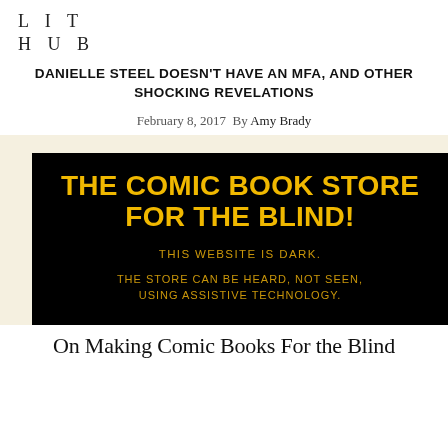LIT
HUB
DANIELLE STEEL DOESN'T HAVE AN MFA, AND OTHER SHOCKING REVELATIONS
February 8, 2017  By Amy Brady
[Figure (photo): Black background image with yellow/gold text reading: THE COMIC BOOK STORE FOR THE BLIND! THIS WEBSITE IS DARK. THE STORE CAN BE HEARD, NOT SEEN, USING ASSISTIVE TECHNOLOGY.]
On Making Comic Books For the Blind